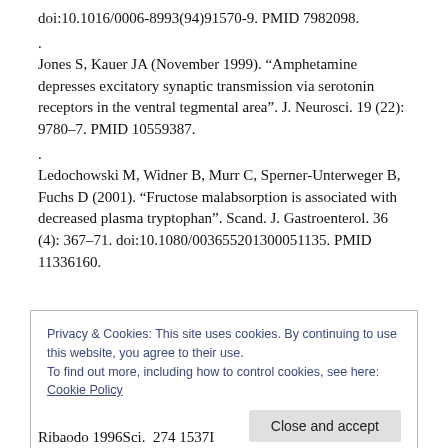doi:10.1016/0006-8993(94)91570-9. PMID 7982098.
.
Jones S, Kauer JA (November 1999). “Amphetamine depresses excitatory synaptic transmission via serotonin receptors in the ventral tegmental area”. J. Neurosci. 19 (22): 9780–7. PMID 10559387.
.
Ledochowski M, Widner B, Murr C, Sperner-Unterweger B, Fuchs D (2001). “Fructose malabsorption is associated with decreased plasma tryptophan”. Scand. J. Gastroenterol. 36 (4): 367–71. doi:10.1080/003655201300051135. PMID 11336160.
Privacy & Cookies: This site uses cookies. By continuing to use this website, you agree to their use.
To find out more, including how to control cookies, see here: Cookie Policy
Ribaodo 1996Sci. 274 1537I